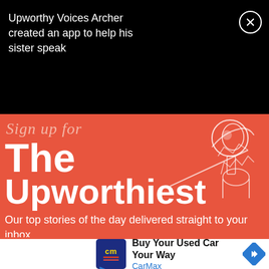Upworthy Voices Archer created an app to help his sister speak
[Figure (screenshot): Upworthy newsletter signup promotion with orange background showing 'Sign up for The Upworthiest' with subtitle 'Our top stories of the day delivered straight to your inbox.' and a SIGN ME UP / YES PLEASE input bar]
[Figure (infographic): CarMax advertisement: Buy Your Used Car Your Way - CarMax with logo and navigation icon]